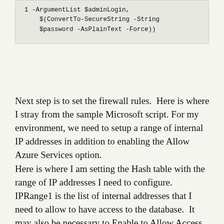1 -ArgumentList $adminLogin,
$(ConvertTo-SecureString -String
$password -AsPlainText -Force))
Next step is to set the firewall rules.  Here is where I stray from the sample Microsoft script.  For my environment, we need to setup a range of internal IP addresses in addition to enabling the Allow Azure Services option.
Here is where I am setting the Hash table with the range of IP addresses I need to configure.  IPRange1 is the list of internal addresses that I need to allow to have access to the database.  It may also be necessary to Enable to Allow Access To Azure Services.  This option basically sets a